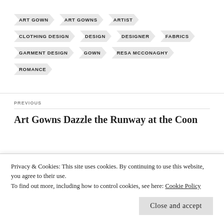ART GOWN
ART GOWNS
ARTIST
CLOTHING DESIGN
DESIGN
DESIGNER
FABRICS
GARMENT DESIGN
GOWN
RESA MCCONAGHY
ROMANCE
PREVIOUS
Art Gowns Dazzle the Runway at the Coon
Privacy & Cookies: This site uses cookies. By continuing to use this website, you agree to their use.
To find out more, including how to control cookies, see here: Cookie Policy
Close and accept